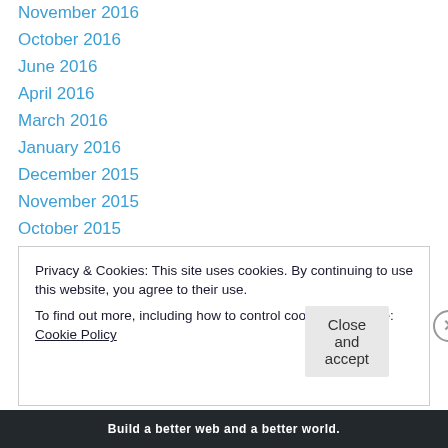November 2016
October 2016
June 2016
April 2016
March 2016
January 2016
December 2015
November 2015
October 2015
September 2015
July 2015
June 2015
May 2015
Privacy & Cookies: This site uses cookies. By continuing to use this website, you agree to their use. To find out more, including how to control cookies, see here: Cookie Policy
Close and accept
Build a better web and a better world.